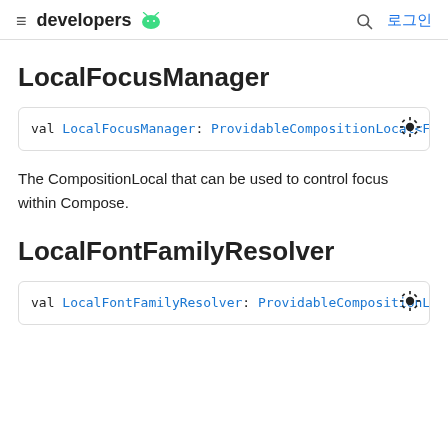≡ developers 🤖 🔍 로그인
LocalFocusManager
val LocalFocusManager: ProvidableCompositionLocal<Fo
The CompositionLocal that can be used to control focus within Compose.
LocalFontFamilyResolver
val LocalFontFamilyResolver: ProvidableCompositionLo